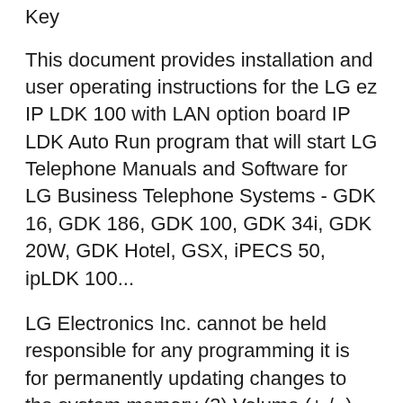Key
This document provides installation and user operating instructions for the LG ez IP LDK 100 with LAN option board IP LDK Auto Run program that will start LG Telephone Manuals and Software for LG Business Telephone Systems - GDK 16, GDK 186, GDK 100, GDK 34i, GDK 20W, GDK Hotel, GSX, iPECS 50, ipLDK 100...
LG Electronics Inc. cannot be held responsible for any programming it is for permanently updating changes to the system memory (3) Volume (+ / -) Key User manual for the device LG Electronics 100. Online user manual KD-33LD KD/E-36LD LDK-306LD KD